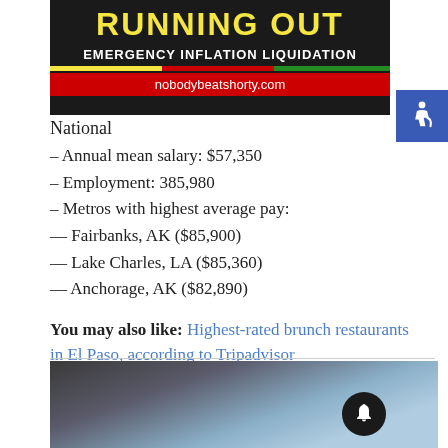[Figure (infographic): Advertisement banner for 'Running Out - Emergency Inflation Liquidation' with website nobodybeatshorty.com on dark background with yellow text and red URL bar]
[Figure (infographic): Blue accessibility (wheelchair) icon on blue square background]
National
– Annual mean salary: $57,350
– Employment: 385,980
– Metros with highest average pay:
— Fairbanks, AK ($85,900)
— Lake Charles, LA ($85,360)
— Anchorage, AK ($82,890)
You may also like: Highest-rated brunch restaurants in El Paso, according to Tripadvisor
[Figure (photo): Photo of a person in a dark suit, blurred background, with a notification bell button overlay]